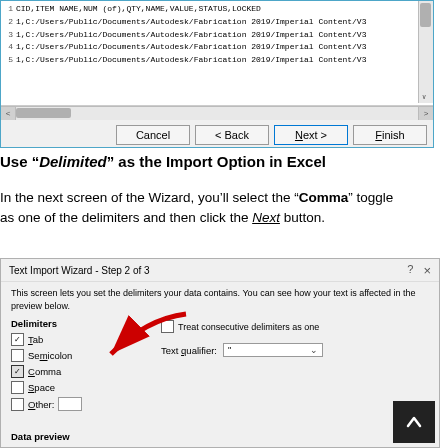[Figure (screenshot): Excel Text Import Wizard Step 1 showing CSV preview with rows containing CID, ITEM NAME, NUM, QTY, NAME, VALUE, STATUS, LOCKED columns and paths to Autodesk Fabrication files. Navigation buttons: Cancel, Back, Next, Finish.]
Use "Delimited" as the Import Option in Excel
In the next screen of the Wizard, you'll select the "Comma" toggle as one of the delimiters and then click the Next button.
[Figure (screenshot): Excel Text Import Wizard Step 2 of 3 dialog showing delimiter options: Tab (checked), Semicolon (unchecked), Comma (checked, highlighted with red arrow), Space (unchecked), Other (unchecked). Treat consecutive delimiters as one checkbox. Text qualifier dropdown. Data preview label at bottom.]